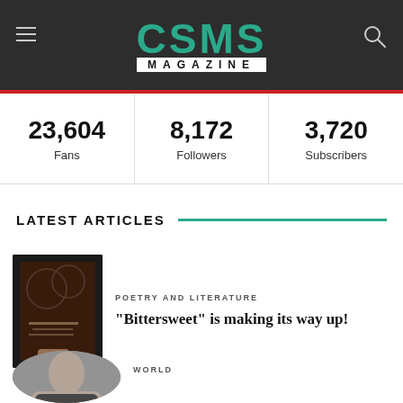CSMS MAGAZINE
| Fans | Followers | Subscribers |
| --- | --- | --- |
| 23,604 | 8,172 | 3,720 |
LATEST ARTICLES
POETRY AND LITERATURE
“Bittersweet” is making its way up!
WORLD